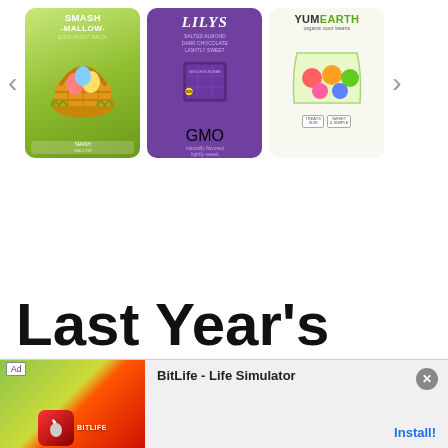[Figure (other): Product carousel showing three Easter candy items: Smash Mallow Egg Hunt Pack (green bag), Lily's Salted Almond Dark Chocolate Bar (purple packaging), and YumEarth Organic Sour Beans (white bag). Navigation arrows on left and right.]
Last Year's Easter
This website uses cookies to improve your experience. We'll assume you're ok with this, but you can opt-out if you wish.
[Figure (other): Advertisement banner for BitLife - Life Simulator mobile app with Ad label, colorful imagery, app name, and Install button with close X button.]